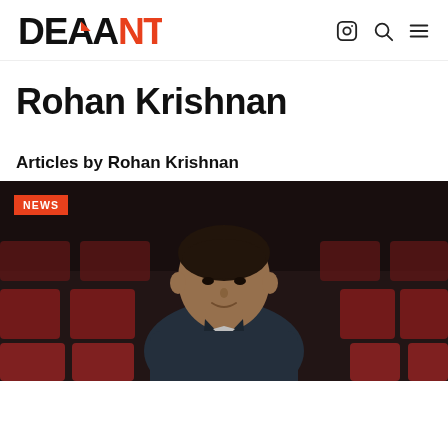DEAD ANT logo with navigation icons
Rohan Krishnan
Articles by Rohan Krishnan
[Figure (photo): Man in a dark blazer sitting in a theatre with red seats in the background, with an orange NEWS badge overlay in the top left corner]